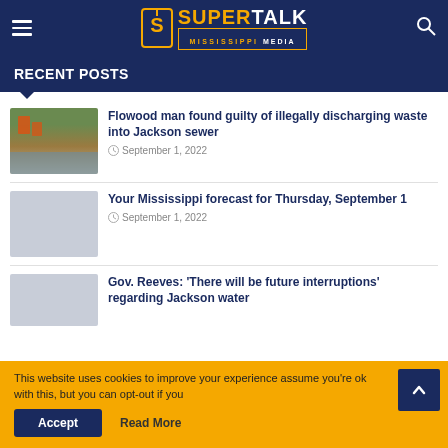SuperTalk Mississippi Media
RECENT POSTS
Flowood man found guilty of illegally discharging waste into Jackson sewer
September 1, 2022
Your Mississippi forecast for Thursday, September 1
September 1, 2022
Gov. Reeves: 'There will be future interruptions' regarding Jackson water
This website uses cookies to improve your experience assume you're ok with this, but you can opt-out if you Accept Read More